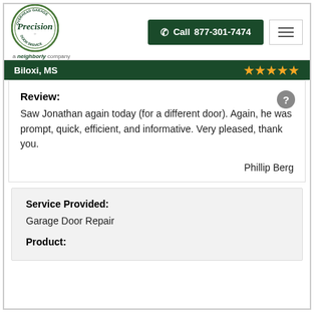[Figure (logo): Precision Overhead Garage Door Service logo — circular badge with green text, 'a neighborly company' tagline below]
Call 877-301-7474
Biloxi, MS ★★★★★
Review:
Saw Jonathan again today (for a different door). Again, he was prompt, quick, efficient, and informative. Very pleased, thank you.
Phillip Berg
Service Provided:
Garage Door Repair
Product: